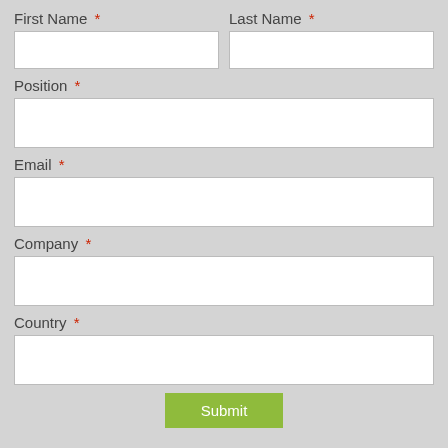First Name *
Last Name *
Position *
Email *
Company *
Country *
Submit